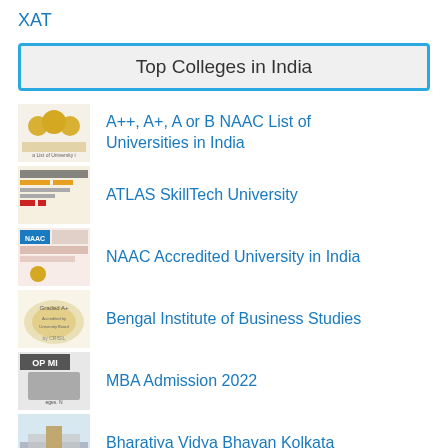XAT
Top Colleges in India
A++, A+, A or B NAAC List of Universities in India
ATLAS SkillTech University
NAAC Accredited University in India
Bengal Institute of Business Studies
MBA Admission 2022
Bharatiya Vidya Bhavan Kolkata
MBA Colleges in Pune With Fees